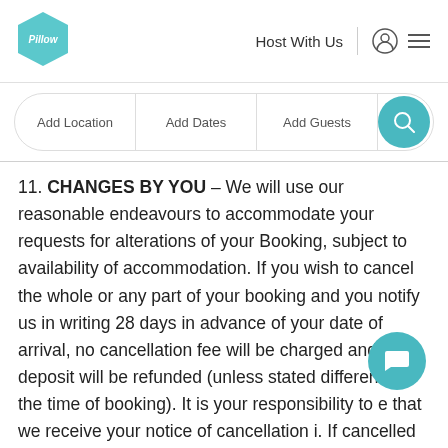[Figure (logo): Pillow brand logo — teal hexagon shape with 'Pillow' written in white cursive text]
Host With Us
[Figure (screenshot): Search bar with three fields: Add Location, Add Dates, Add Guests, and a teal search button]
11. CHANGES BY YOU – We will use our reasonable endeavours to accommodate your requests for alterations of your Booking, subject to availability of accommodation. If you wish to cancel the whole or any part of your booking and you notify us in writing 28 days in advance of your date of arrival, no cancellation fee will be charged and your deposit will be refunded (unless stated differently at the time of booking). It is your responsibility to e[nsure] that we receive your notice of cancellation [in writing]. If cancelled within 28 days of your arrival date, or in